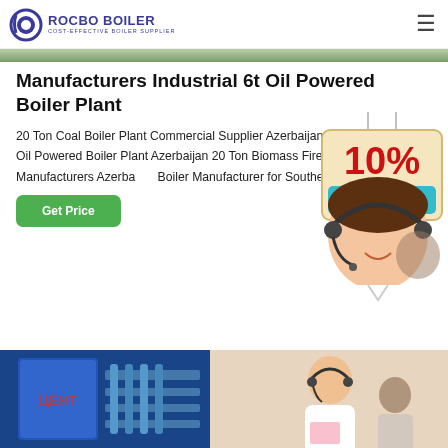ROCBO BOILER - COST-EFFECTIVE BOILER SUPPLIER
[Figure (photo): Top image strip showing industrial boiler facility]
Manufacturers Industrial 6t Oil Powered Boiler Plant
20 Ton Coal Boiler Plant Commercial Supplier Azerbaijan. Commercial 8 Ton Oil Powered Boiler Plant Azerbaijan 20 Ton Biomass Fired Boiler Plant Manufacturers Azerbaijan. Boiler Manufacturer for Southeast Asia--ZBG. An...
[Figure (illustration): 10% Discount badge/sign hanging graphic]
[Figure (photo): Get Price button - green rounded button]
[Figure (photo): Bottom collage photo showing industrial boiler equipment on left and customer service representative with headset on right]